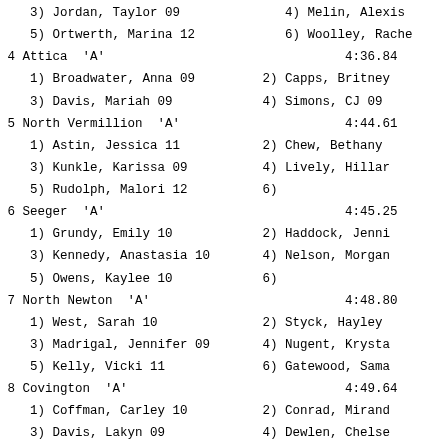3) Jordan, Taylor 09                    4) Melin, Alexis
5) Ortwerth, Marina 12                  6) Woolley, Rache
4 Attica  'A'                                     4:36.84
1) Broadwater, Anna 09              2) Capps, Britney
3) Davis, Mariah 09                 4) Simons, CJ 09
5 North Vermillion  'A'                           4:44.61
1) Astin, Jessica 11                2) Chew, Bethany
3) Kunkle, Karissa 09               4) Lively, Hillar
5) Rudolph, Malori 12               6)
6 Seeger  'A'                                     4:45.25
1) Grundy, Emily 10                 2) Haddock, Jenni
3) Kennedy, Anastasia 10            4) Nelson, Morgan
5) Owens, Kaylee 10                 6)
7 North Newton  'A'                               4:48.80
1) West, Sarah 10                   2) Styck, Hayley
3) Madrigal, Jennifer 09            4) Nugent, Krysta
5) Kelly, Vicki 11                  6) Gatewood, Sama
8 Covington  'A'                                  4:49.64
1) Coffman, Carley 10               2) Conrad, Mirand
3) Davis, Lakyn 09                  4) Dewlen, Chelse
5) Harmon, Lacey 11                 6) Myers, Abby 09
9 Frontier  'A'                                   5:00.99
1) Byrd, Taylor 11                  2) Runk, Shyann 0
3) Clausen, Erika 10                4) Heath, Jenny 1
5) Hutter, Nicole 10                6) Cearing, Kelse
10 Fountain Central  'A'                          5:08.42
1) Lowe, Nikki 11                   2) Morrett, Hanna
3) Sheldon, Mackenzie 10            4) Shoaf, Whitney
5) Simonton, Kaitlyn 09             6)
11 South Newton  'A'                              5:12.74